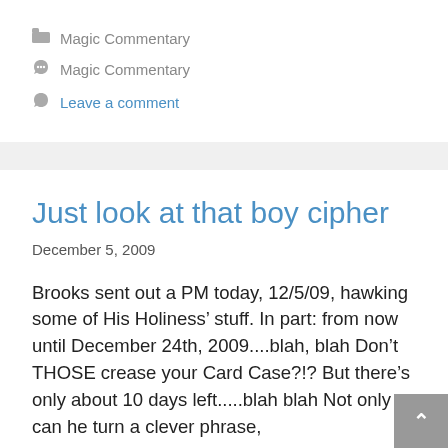Magic Commentary
Magic Commentary
Leave a comment
Just look at that boy cipher
December 5, 2009
Brooks sent out a PM today, 12/5/09, hawking some of His Holiness’ stuff. In part: from now until December 24th, 2009....blah, blah Don’t THOSE crease your Card Case?!? But there’s only about 10 days left.....blah blah Not only can he turn a clever phrase,